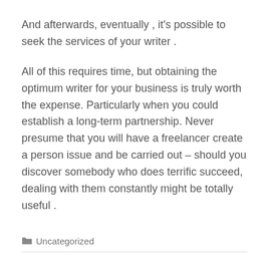And afterwards, eventually , it's possible to seek the services of your writer .
All of this requires time, but obtaining the optimum writer for your business is truly worth the expense. Particularly when you could establish a long-term partnership. Never presume that you will have a freelancer create a person issue and be carried out – should you discover somebody who does terrific succeed, dealing with them constantly might be totally useful .
Uncategorized